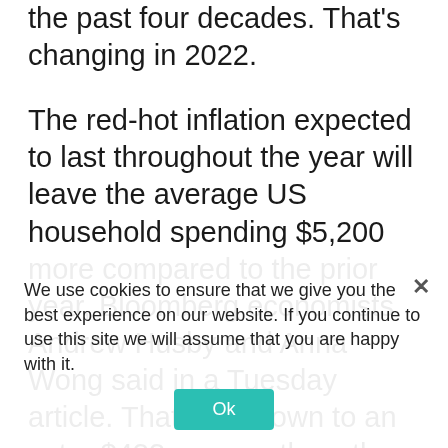the past four decades. That's changing in 2022.
The red-hot inflation expected to last throughout the year will leave the average US household spending $5,200 more compared to the prior year, Bloomberg economists Andrew Husby and Anna Wong said in a Tuesday article. That boils down to an extra $433 per month on the same goods and services as last year.
Strong wage growth and excess savings from earlier in the pandemic will help soften the blow, but looming economic trends stand to increase the inflationary burden over the next several months, the team said.
We use cookies to ensure that we give you the best experience on our website. If you continue to use this site we will assume that you are happy with it.